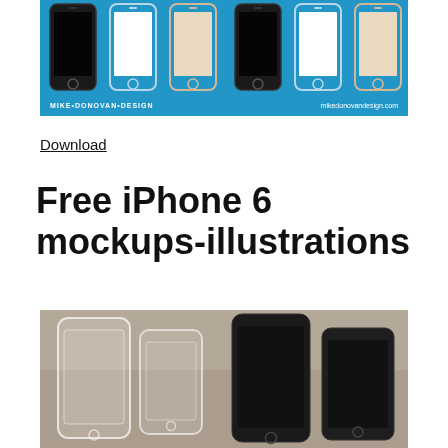[Figure (illustration): Flat vector illustration mockups of iPhone 6 in multiple colors (space gray with black screen, white/silver with white screen, gold/champagne with beige screen) shown in a row on a blue background. Bottom has 'MIKE•DONOVAN•DESIGN' logo on left and 'mikedonovandesign.com' on right.]
Download
Free iPhone 6 mockups-illustrations
[Figure (photo): Photo of multiple iPhone 6 models standing upright showing front faces, including transparent/wireframe style phones on the left and dark/black model phones on the right, with a blurred background.]